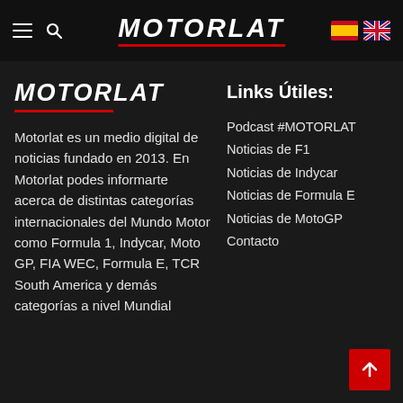MOTORLAT
MOTORLAT
Motorlat es un medio digital de noticias fundado en 2013. En Motorlat podes informarte acerca de distintas categorías internacionales del Mundo Motor como Formula 1, Indycar, Moto GP, FIA WEC, Formula E, TCR South America y demás categorías a nivel Mundial
Links Útiles:
Podcast #MOTORLAT
Noticias de F1
Noticias de Indycar
Noticias de Formula E
Noticias de MotoGP
Contacto